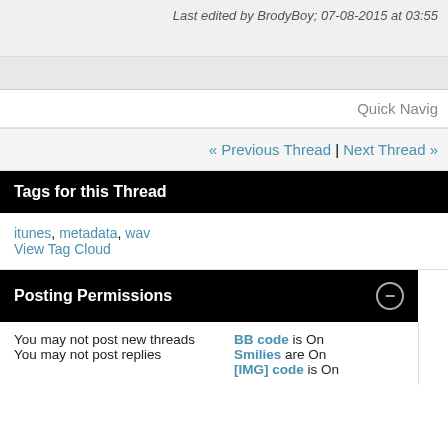Last edited by BrodyBoy; 07-08-2015 at 03:55
Quick Navig
« Previous Thread | Next Thread »
Tags for this Thread
itunes, metadata, wav
View Tag Cloud
Posting Permissions
You may not post new threads
You may not post replies
BB code is On
Smilies are On
[IMG] code is On